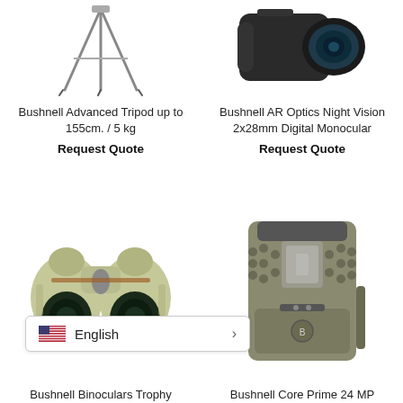[Figure (photo): Bushnell Advanced Tripod product photo, showing tripod legs extended]
Bushnell Advanced Tripod up to 155cm. / 5 kg
Request Quote
[Figure (photo): Bushnell AR Optics Night Vision 2x28mm Digital Monocular product photo]
Bushnell AR Optics Night Vision 2x28mm Digital Monocular
Request Quote
[Figure (photo): Bushnell Binoculars Trophy product photo, olive/tan colored binoculars]
[Figure (photo): Bushnell Core Prime 24 MP trail camera product photo, tan/gray colored]
Bushnell Binoculars Trophy
Bushnell Core Prime 24 MP